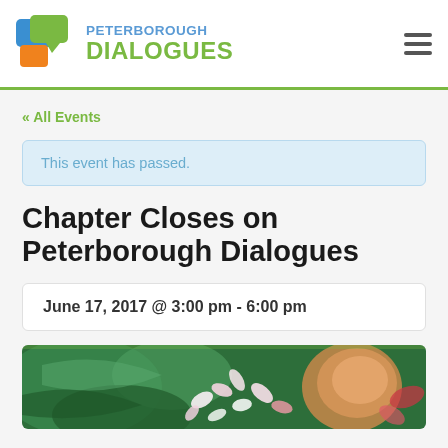Peterborough Dialogues
« All Events
This event has passed.
Chapter Closes on Peterborough Dialogues
June 17, 2017 @ 3:00 pm - 6:00 pm
[Figure (photo): Decorative photo with flower petals and a wooden bowl or spoon on a green leaf/marble background]